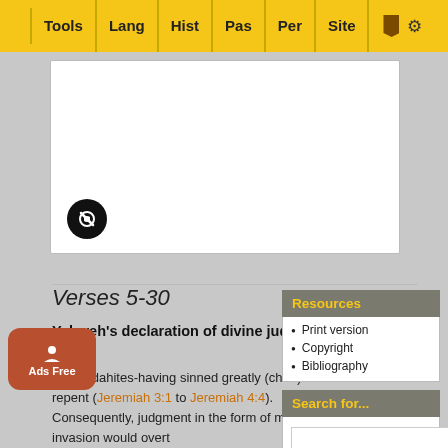Tools | Lang | Hist | Pas | Per | Site
[Figure (screenshot): White media player box with mute button (black circle with mute icon)]
Verses 5-30
Yahweh's declaration of divine judgment 4:5-6:30
The Judahites-having sinned greatly (ch. 2)-failed to repent (Jeremiah 3:1 to Jeremiah 4:4). Consequently, judgment in the form of military invasion would overt... section...
Resources
Print version
Copyright
Bibliography
Search for...